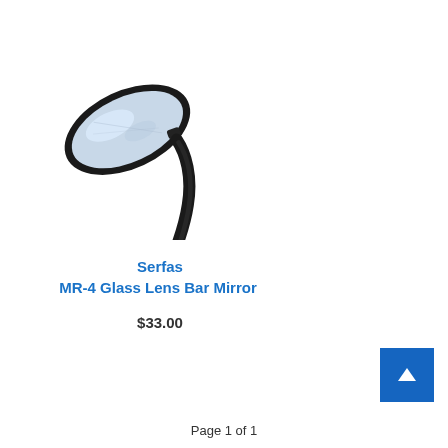[Figure (photo): A black bicycle handlebar mirror (Serfas MR-4) with a diamond-shaped glass lens and a curved arm with handlebar mount clamp.]
Serfas
MR-4 Glass Lens Bar Mirror
$33.00
Page 1 of 1